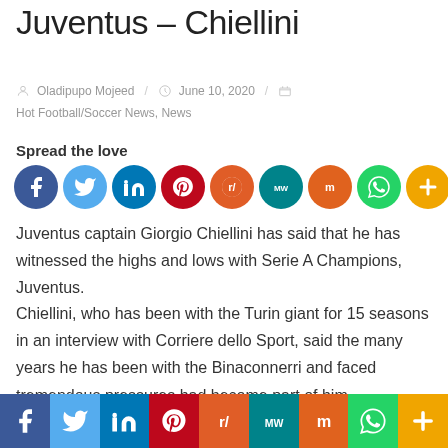Juventus – Chiellini
Oladipupo Mojeed / June 10, 2020 / Hot Football/Soccer News, News
Spread the love
[Figure (infographic): Social media share buttons: Facebook, Twitter, LinkedIn, Pinterest, Reddit, MeWe, Mix, WhatsApp, More (circular icons in top section and rectangular bar at bottom)]
Juventus captain Giorgio Chiellini has said that he has witnessed the highs and lows with Serie A Champions, Juventus.
Chiellini, who has been with the Turin giant for 15 seasons in an interview with Corriere dello Sport, said the many years he has been with the Binaconnerri and faced tremendous pressures had become part of him.